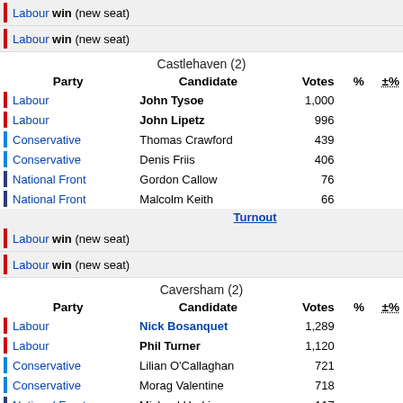Labour win (new seat)
Labour win (new seat)
Castlehaven (2)
| Party | Candidate | Votes | % | ±% |
| --- | --- | --- | --- | --- |
| Labour | John Tysoe | 1,000 |  |  |
| Labour | John Lipetz | 996 |  |  |
| Conservative | Thomas Crawford | 439 |  |  |
| Conservative | Denis Friis | 406 |  |  |
| National Front | Gordon Callow | 76 |  |  |
| National Front | Malcolm Keith | 66 |  |  |
|  | Turnout |  |  |  |
Labour win (new seat)
Labour win (new seat)
Caversham (2)
| Party | Candidate | Votes | % | ±% |
| --- | --- | --- | --- | --- |
| Labour | Nick Bosanquet | 1,289 |  |  |
| Labour | Phil Turner | 1,120 |  |  |
| Conservative | Lilian O'Callaghan | 721 |  |  |
| Conservative | Morag Valentine | 718 |  |  |
| National Front | Michael Harkins | 117 |  |  |
| National Front | Bernard Robinson | 108 |  |  |